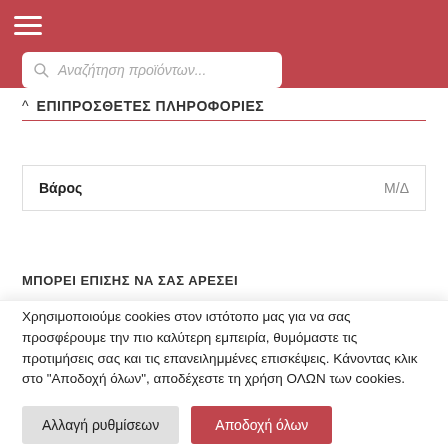☰
Αναζήτηση προϊόντων...
^ ΕΠΙΠΡΟΣΘΕΤΕΣ ΠΛΗΡΟΦΟΡΙΕΣ
|  |  |
| --- | --- |
| Βάρος | Μ/Δ |
ΜΠΟΡΕΙ ΕΠΙΣΗΣ ΝΑ ΣΑΣ ΑΡΕΣΕΙ
Χρησιμοποιούμε cookies στον ιστότοπο μας για να σας προσφέρουμε την πιο καλύτερη εμπειρία, θυμόμαστε τις προτιμήσεις σας και τις επανειλημμένες επισκέψεις. Κάνοντας κλικ στο "Αποδοχή όλων", αποδέχεστε τη χρήση ΟΛΩΝ των cookies.
Αλλαγή ρυθμίσεων
Αποδοχή όλων